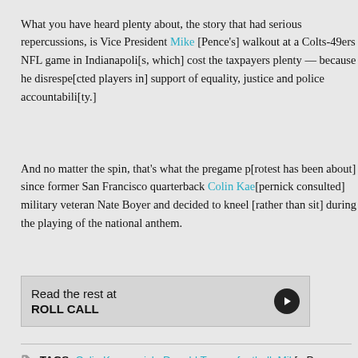What you have heard plenty about, the story that had serious repercussions, is Vice President Mike [Pence's] walkout at a Colts-49ers NFL game in Indianapolis, [which] cost the taxpayers plenty — because he disrespected [players in] support of equality, justice and police accountability.
And no matter the spin, that's what the pregame protest [has been about] since former San Francisco quarterback Colin Kae[pernick consulted] military veteran Nate Boyer and decided to kneel [rather than sit] during the playing of the national anthem.
Read the rest at ROLL CALL
TAGS: Colin Kaepernick, Donald Trump, football, Mik[e Pence, police] shooting, protest, race, Roger Goodell